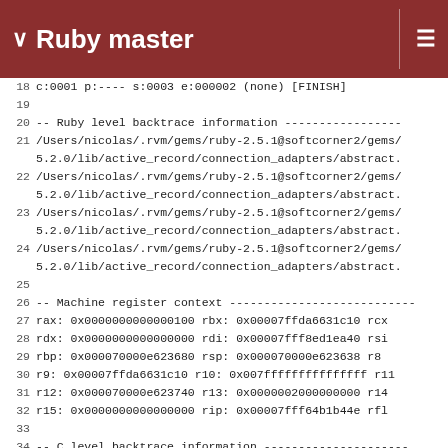Ruby master
18 c:0001 p:---- s:0003 e:000002 (none) [FINISH]
19
20 -- Ruby level backtrace information -----------------
21 /Users/nicolas/.rvm/gems/ruby-2.5.1@softcorner2/gems/5.2.0/lib/active_record/connection_adapters/abstract.
22 /Users/nicolas/.rvm/gems/ruby-2.5.1@softcorner2/gems/5.2.0/lib/active_record/connection_adapters/abstract.
23 /Users/nicolas/.rvm/gems/ruby-2.5.1@softcorner2/gems/5.2.0/lib/active_record/connection_adapters/abstract.
24 /Users/nicolas/.rvm/gems/ruby-2.5.1@softcorner2/gems/5.2.0/lib/active_record/connection_adapters/abstract.
25
26 -- Machine register context ---------------------------
27 rax: 0x0000000000000100 rbx: 0x00007ffda6631c10 rcx
28 rdx: 0x0000000000000000 rdi: 0x00007fff8ed1ea40 rsi
29 rbp: 0x000070000e623680 rsp: 0x000070000e623638  r8
30  r9: 0x00007ffda6631c10 r10: 0x007fffffffffffffff r11
31 r12: 0x000070000e623740 r13: 0x0000002000000000 r14
32 r15: 0x0000000000000000 rip: 0x00007fff64b1b44e rfl
33
34 -- C level backtrace information ---------------------
35 0   libruby.2.5.dylib                    0x0000000105b
36 1   libruby.2.5.dylib                    0x0000000105a
37 2   libruby.2.5.dylib                    0x0000000105b
38 3   libsystem_platform.dylib             0x00007fff64c
39 4   libdispatch.dylib                    0x00007fff64b
40 5   libdispatch.dylib